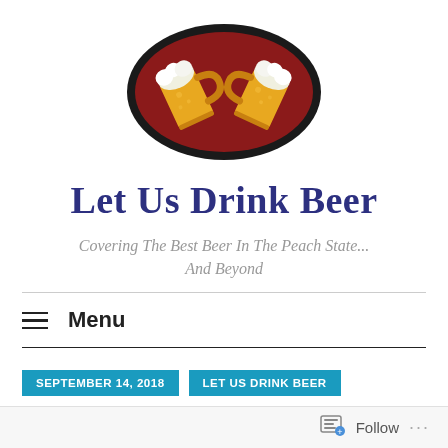[Figure (logo): Two crossed beer mugs on a dark oval background with red center — site logo for Let Us Drink Beer]
Let Us Drink Beer
Covering The Best Beer In The Peach State... And Beyond
Menu
SEPTEMBER 14, 2018
LET US DRINK BEER
Follow ...